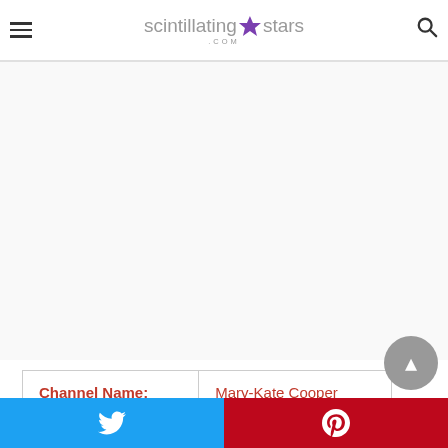scintillating stars .com
[Figure (other): Advertisement / blank area]
| Channel Name: | Mary-Kate Cooper |
| --- | --- |
Mk Cooper's Age & Birthday